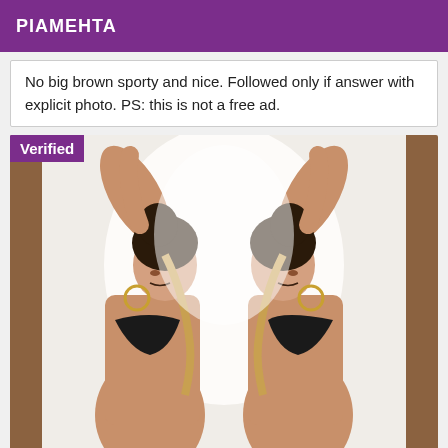PIAMEHTA
No big brown sporty and nice. Followed only if answer with explicit photo. PS: this is not a free ad.
[Figure (photo): Mirrored image of a woman in a black bikini top, dark hair, hoop earrings, posed with arms raised, against a bright white background with dark wooden pillars on edges. 'Verified' badge in purple at top left.]